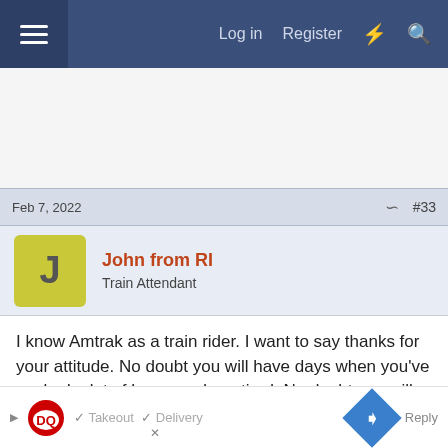Log in  Register
Feb 7, 2022  #33
John from RI
Train Attendant
I know Amtrak as a train rider. I want to say thanks for your attitude. No doubt you will have days when you've worked a lot of hours and are tired. No doubt you will meet us members of the Amtrak public who are not at our best. No doubt the best for some of us was not very good in the first place. Still, we too are human beings and our comfort depends on people like you. I can only wish I might ride a train where you would be my OBS.